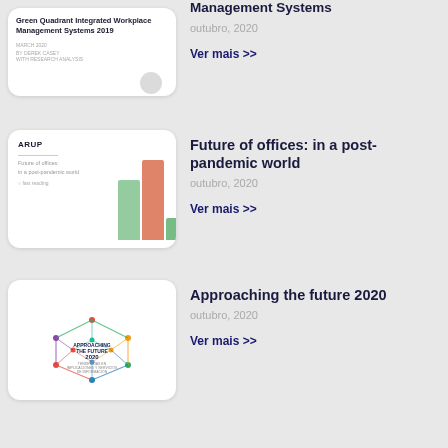[Figure (illustration): Book cover thumbnail: Green Quadrant Integrated Workplace Management Systems 2019, white background with small circular badge]
Management Systems
outubro, 2020
Ver mais >>
[Figure (illustration): ARUP report cover: Future of offices: in a post-pandemic world, with colorful vertical bar graphics (green and orange)]
Future of offices: in a post-pandemic world
outubro, 2020
Ver mais >>
[Figure (illustration): Approaching the future 2020 report cover with geometric network sphere graphic in multiple colors]
Approaching the future 2020
outubro, 2020
Ver mais >>